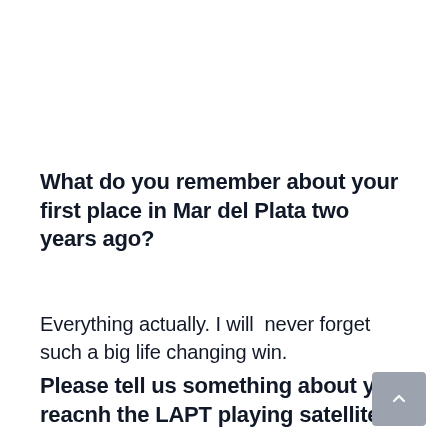What do you remember about your first place in Mar del Plata two years ago?
Everything actually. I will  never forget such a big life changing win.
Please tell us something about you reacnh the LAPT playing satellites